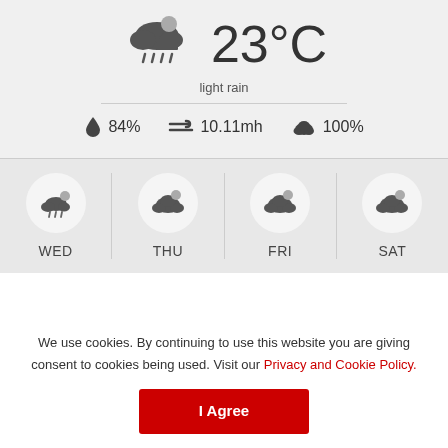[Figure (screenshot): Weather app screenshot showing 23°C with light rain, weather stats (84% humidity, 10.11mh wind, 100% cloud cover), and a 4-day forecast for WED, THU, FRI, SAT]
light rain
84%  10.11mh  100%
WED  THU  FRI  SAT
We use cookies. By continuing to use this website you are giving consent to cookies being used. Visit our Privacy and Cookie Policy.
I Agree